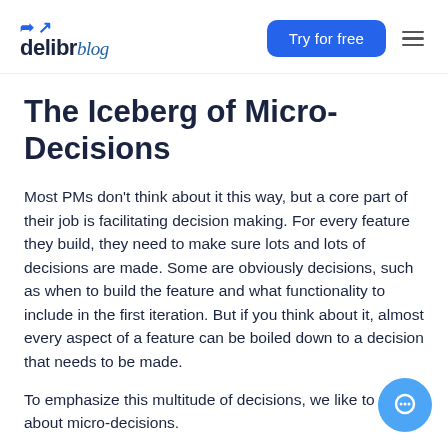delibr blog | Try for free
The Iceberg of Micro-Decisions
Most PMs don't think about it this way, but a core part of their job is facilitating decision making. For every feature they build, they need to make sure lots and lots of decisions are made. Some are obviously decisions, such as when to build the feature and what functionality to include in the first iteration. But if you think about it, almost every aspect of a feature can be boiled down to a decision that needs to be made.
To emphasize this multitude of decisions, we like to talk about micro-decisions.